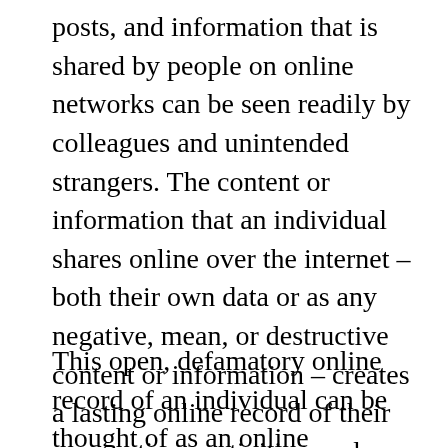posts, and information that is shared by people on online networks can be seen readily by colleagues and unintended strangers. The content or information that an individual shares online over the internet – both their own data or as any negative, mean, or destructive content or information – creates a lasting online record of their perspectives, activities, and conduct.
This open, defamatory online record of an individual can be thought of as an online notoriety, which might be